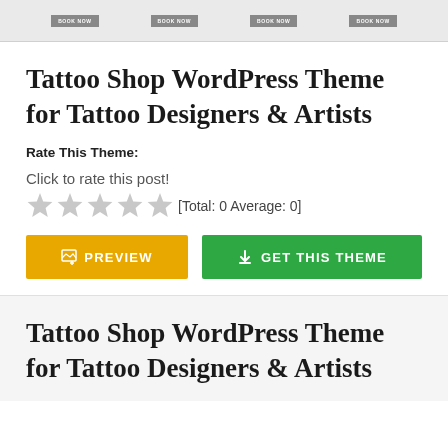[Figure (screenshot): Partial screenshot of a WordPress theme preview showing four 'BOOK NOW' buttons at the top]
Tattoo Shop WordPress Theme for Tattoo Designers & Artists
Rate This Theme:
Click to rate this post!
[Figure (other): Five grey/light stars rating widget with text [Total: 0 Average: 0]]
[Figure (other): PREVIEW button (yellow/orange) and GET THIS THEME button (green)]
Tattoo Shop WordPress Theme for Tattoo Designers & Artists